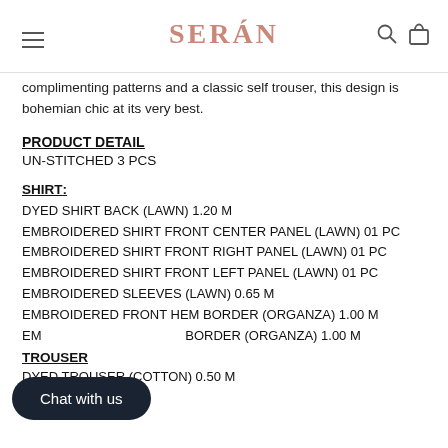SERÁN
complimenting patterns and a classic self trouser, this design is bohemian chic at its very best.
PRODUCT DETAIL
UN-STITCHED 3 PCS
SHIRT:
DYED SHIRT BACK (LAWN) 1.20 M
EMBROIDERED SHIRT FRONT CENTER PANEL (LAWN) 01 PC
EMBROIDERED SHIRT FRONT RIGHT PANEL (LAWN) 01 PC
EMBROIDERED SHIRT FRONT LEFT PANEL (LAWN) 01 PC
EMBROIDERED SLEEVES (LAWN) 0.65 M
EMBROIDERED FRONT HEM BORDER (ORGANZA) 1.00 M
EMBROIDERED SLEEVES BORDER (ORGANZA) 1.00 M
TROUSER
DYED TROUSER (COTTON) 0.50 M